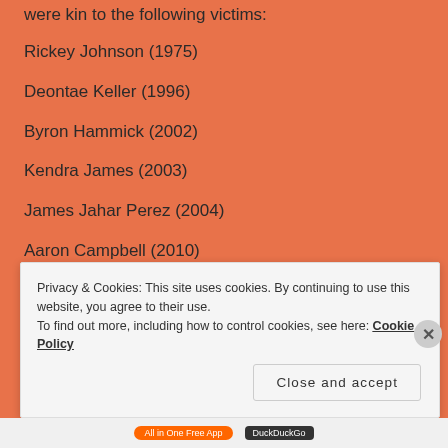were kin to the following victims:
Rickey Johnson (1975)
Deontae Keller (1996)
Byron Hammick (2002)
Kendra James (2003)
James Jahar Perez (2004)
Aaron Campbell (2010)
Keaton Otis (2010)
Privacy & Cookies: This site uses cookies. By continuing to use this website, you agree to their use. To find out more, including how to control cookies, see here: Cookie Policy
Close and accept